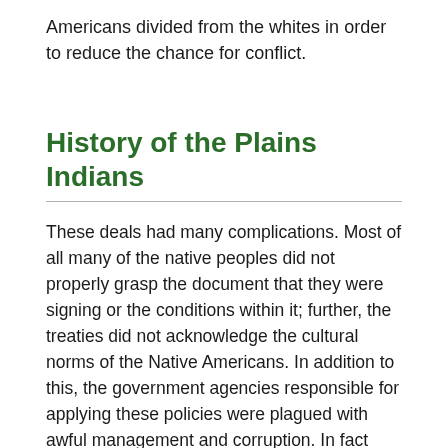Americans divided from the whites in order to reduce the chance for conflict.
History of the Plains Indians
These deals had many complications. Most of all many of the native peoples did not properly grasp the document that they were signing or the conditions within it; further, the treaties did not acknowledge the cultural norms of the Native Americans. In addition to this, the government agencies responsible for applying these policies were plagued with awful management and corruption. In fact most treaty conditions were never implemented.